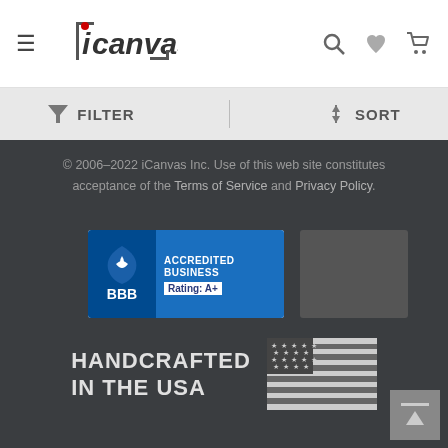iCanvas — hamburger menu, search, wishlist, cart icons
FILTER   SORT
© 2006–2022 iCanvas Inc. Use of this web site constitutes acceptance of the Terms of Service and Privacy Policy.
[Figure (logo): BBB Accredited Business, Rating: A+ badge in blue and white]
[Figure (other): Secondary badge placeholder (dark grey rectangle)]
[Figure (illustration): HANDCRAFTED IN THE USA text with USA flag graphic in grey tones]